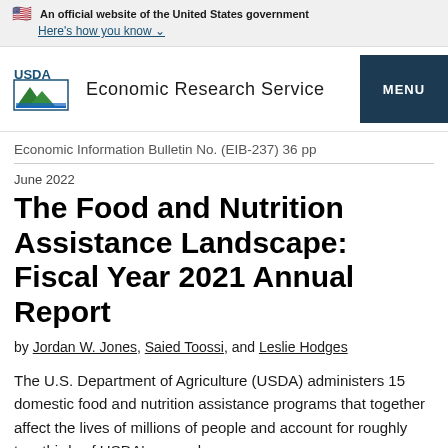An official website of the United States government
Here's how you know
USDA Economic Research Service MENU
Economic Information Bulletin No. (EIB-237) 36 pp
June 2022
The Food and Nutrition Assistance Landscape: Fiscal Year 2021 Annual Report
by Jordan W. Jones, Saied Toossi, and Leslie Hodges
The U.S. Department of Agriculture (USDA) administers 15 domestic food and nutrition assistance programs that together affect the lives of millions of people and account for roughly two-thirds of USDA's annual